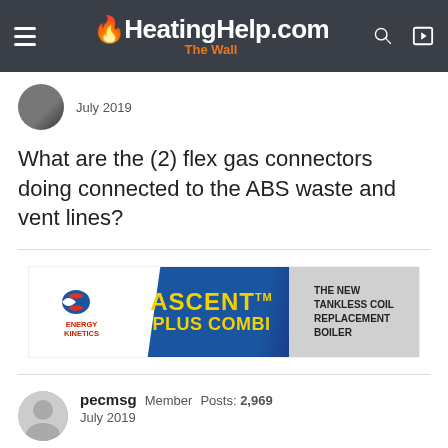HeatingHelp.com The Wall
July 2019
What are the (2) flex gas connectors doing connected to the ABS waste and vent lines?
[Figure (advertisement): Energy Kinetics ASCENT PLUS COMBI advertisement - The New Tankless Coil Replacement Boiler]
pecmsg  Member  Posts: 2,969
July 2019
Paul Pollets said:
What are the (2) flex gas connectors doing